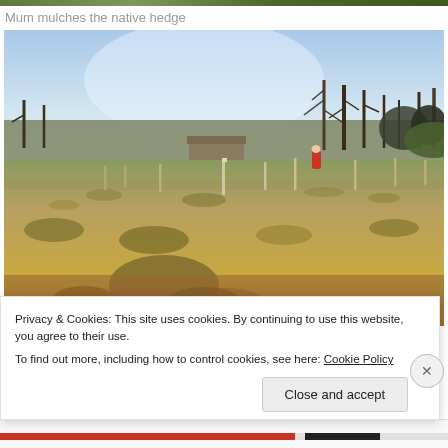Mum mulches the native hedge
[Figure (photo): Outdoor field scene with dry golden grass, wooden stakes/posts in the ground, trees in the background, clear sky, a person in a red jacket visible in the middle distance, shadow of photographer in foreground]
Privacy & Cookies: This site uses cookies. By continuing to use this website, you agree to their use.
To find out more, including how to control cookies, see here: Cookie Policy
Close and accept